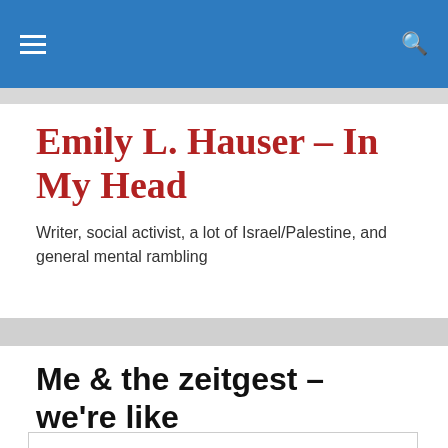Emily L. Hauser – In My Head [navigation bar with hamburger menu and search icon]
Emily L. Hauser – In My Head
Writer, social activist, a lot of Israel/Palestine, and general mental rambling
Me & the zeitgest – we're like **this**
Privacy & Cookies: This site uses cookies. By continuing to use this website, you agree to their use. To find out more, including how to control cookies, see here: Cookie Policy
Close and accept